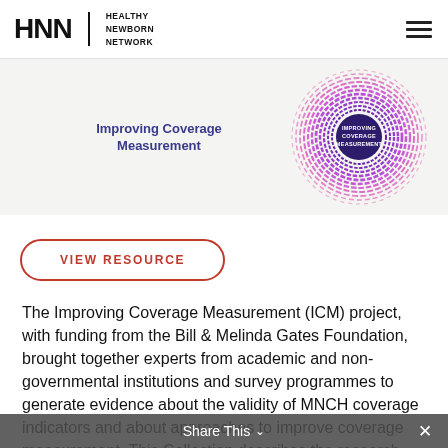HNN | HEALTHY NEWBORN NETWORK
[Figure (logo): Improving Coverage Measurement circular logo with pink/magenta dashed rings and dark purple center with white text]
Improving Coverage Measurement
VIEW RESOURCE
The Improving Coverage Measurement (ICM) project, with funding from the Bill & Melinda Gates Foundation, brought together experts from academic and non-governmental institutions and survey programmes to generate evidence about the validity of MNCH coverage indicators and about approaches to improve coverage measurement. This Collection describes the research
Share This